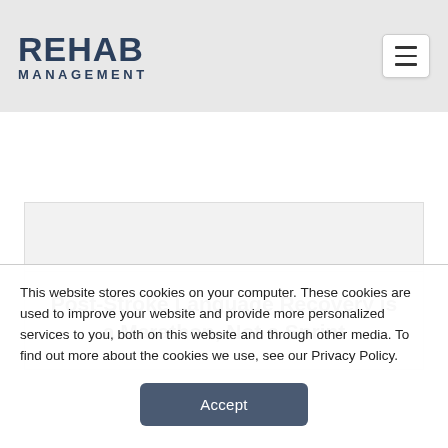REHAB MANAGEMENT
Post-Stroke Language Recovery is a Marathon, Not a Sprint
This website stores cookies on your computer. These cookies are used to improve your website and provide more personalized services to you, both on this website and through other media. To find out more about the cookies we use, see our Privacy Policy.
Accept